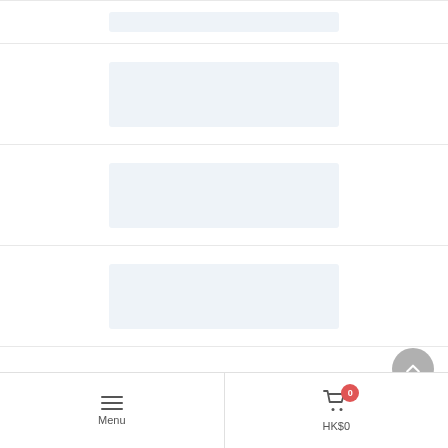[Figure (screenshot): Mobile e-commerce page showing a loading skeleton list with placeholder blocks and a bottom navigation bar with Menu and HK$0 cart buttons.]
Menu   HK$0   0